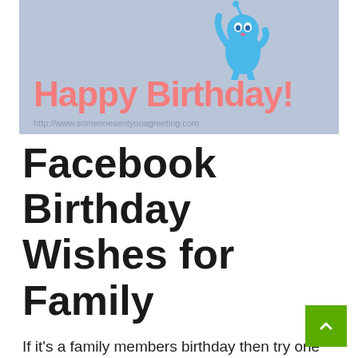[Figure (illustration): Happy Birthday greeting card with a blue cartoon monster character and pink 'Happy Birthday!' text on a light blue/grey background. URL: http://www.someonesentyouagreeting.com]
Facebook Birthday Wishes for Family
If it's a family members birthday then try one of the wishes below that will be sure to get lots of likes and shares!
Dear sis: have an awesome birthday!